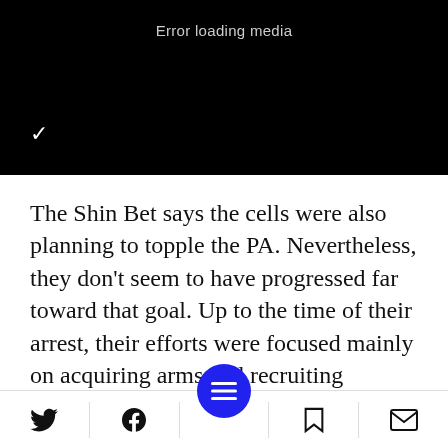[Figure (screenshot): Black video player area showing 'Error loading media' message with a Verizon checkmark icon in the lower left]
The Shin Bet says the cells were also planning to topple the PA. Nevertheless, they don't seem to have progressed far toward that goal. Up to the time of their arrest, their efforts were focused mainly on acquiring arms and recruiting additional members, and the numbers of both they managed to obtain are minuscule compared to the thousands of men
Social share bar with Twitter, Facebook, menu, bookmark, and email icons